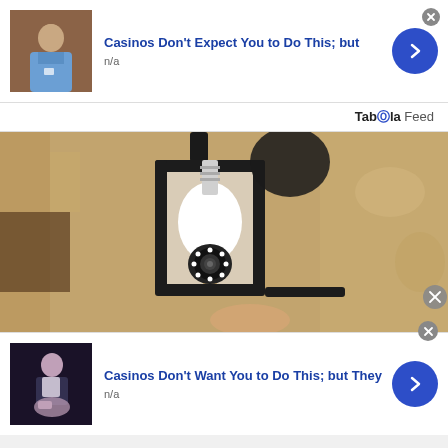[Figure (screenshot): Ad card 1: thumbnail of person in blue shirt, title 'Casinos Don't Expect You to Do This; but', source 'n/a', blue arrow button]
Taboola Feed
[Figure (photo): Large photo of a security camera shaped like a light bulb mounted in a black outdoor lantern fixture on a textured stone wall]
[Figure (screenshot): Ad card 2: thumbnail of person seated, title 'Casinos Don't Want You to Do This; but They', source 'n/a', blue arrow button]